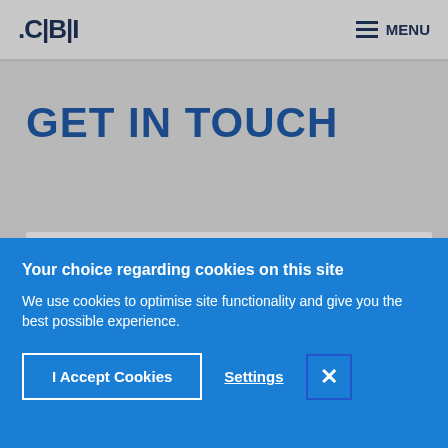CBI | MENU
GET IN TOUCH
[Figure (photo): Partial view of a person's head/hair, visible at the bottom edge of a gray card area]
Your choice regarding cookies on this site
We use cookies to optimise site functionality and give you the best possible experience.
I Accept Cookies
Settings